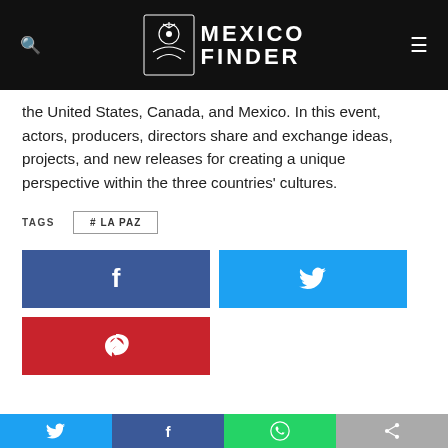Mexico Finder
the United States, Canada, and Mexico. In this event, actors, producers, directors share and exchange ideas, projects, and new releases for creating a unique perspective within the three countries' cultures.
TAGS  #LA PAZ
[Figure (other): Social share buttons: Facebook (dark blue with f icon), Twitter (light blue with bird icon), Pinterest (red with P icon), and a bottom bar with Twitter, Facebook, WhatsApp, and another share option]